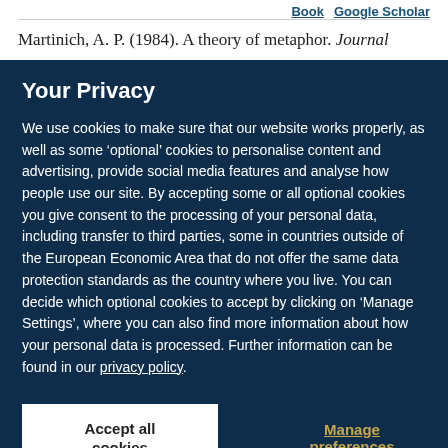Book  Google Scholar
Martinich, A. P. (1984). A theory of metaphor. Journal
Your Privacy
We use cookies to make sure that our website works properly, as well as some ‘optional’ cookies to personalise content and advertising, provide social media features and analyse how people use our site. By accepting some or all optional cookies you give consent to the processing of your personal data, including transfer to third parties, some in countries outside of the European Economic Area that do not offer the same data protection standards as the country where you live. You can decide which optional cookies to accept by clicking on ‘Manage Settings’, where you can also find more information about how your personal data is processed. Further information can be found in our privacy policy.
Accept all cookies
Manage preferences